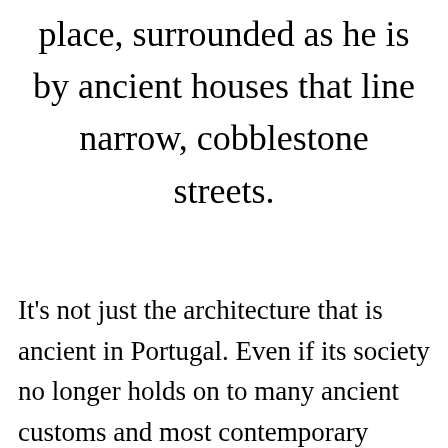place, surrounded as he is by ancient houses that line narrow, cobblestone streets.
It's not just the architecture that is ancient in Portugal. Even if its society no longer holds on to many ancient customs and most contemporary conveniences are in place, many of its